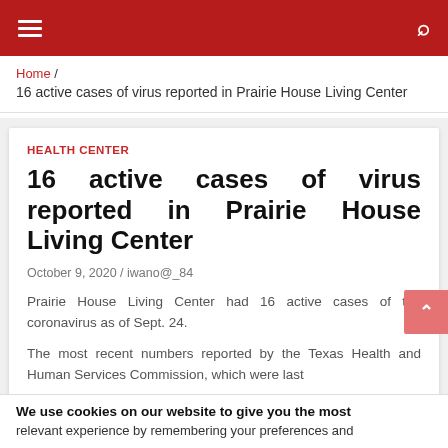Navigation bar with hamburger menu and search icon
Home / 16 active cases of virus reported in Prairie House Living Center
HEALTH CENTER
16 active cases of virus reported in Prairie House Living Center
October 9, 2020 / iwano@_84
Prairie House Living Center had 16 active cases of the coronavirus as of Sept. 24.
The most recent numbers reported by the Texas Health and Human Services Commission, which were last
We use cookies on our website to give you the most relevant experience by remembering your preferences and